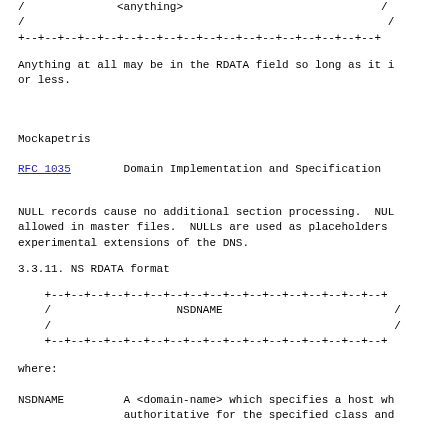[Figure (schematic): ASCII diagram showing a NULL RDATA field box with label <anything> and border made of +--+ characters, with / on sides]
Anything at all may be in the RDATA field so long as it i
or less.
Mockapetris
RFC 1035        Domain Implementation and Specification
NULL records cause no additional section processing.  NUL
allowed in master files.  NULLs are used as placeholders
experimental extensions of the DNS.
3.3.11. NS RDATA format
[Figure (schematic): ASCII diagram showing NS RDATA format box with NSDNAME label, bordered by +--+ characters and / on sides]
where:
NSDNAME         A <domain-name> which specifies a host wh
                authoritative for the specified class and